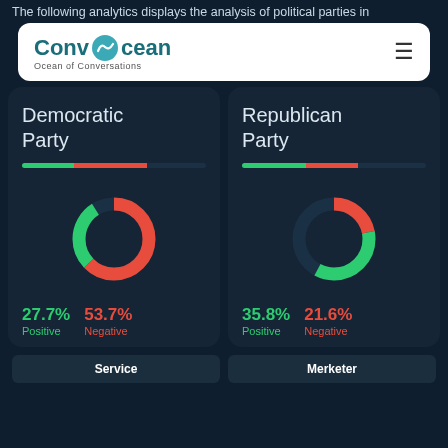The following analytics displays the analysis of political parties in
[Figure (screenshot): ConvOcean navigation bar logo with hamburger menu]
[Figure (infographic): Sentiment analysis card showing 27.7% Positive and 53.7% Negative with a donut chart and colored sentiment bar]
[Figure (infographic): Sentiment analysis card showing 35.8% Positive and 21.6% Negative with a donut chart and colored sentiment bar]
Service
Merketer